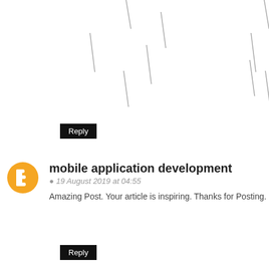[Figure (other): CAPTCHA or image verification area with diagonal slash marks on white background]
Reply
mobile application development
19 August 2019 at 04:55
Amazing Post. Your article is inspiring. Thanks for Posting.
Reply